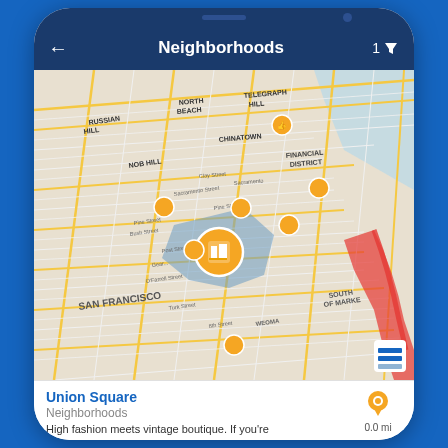[Figure (screenshot): Mobile app screenshot showing a Neighborhoods map screen with San Francisco map. App header reads 'Neighborhoods' with a back arrow and filter icon showing '1'. The map displays San Francisco neighborhoods including Russian Hill, North Beach, Telegraph Hill, Chinatown, Nob Hill, Financial District, Union Square (highlighted in blue), and South of Market. Multiple orange circular map markers are visible. A bottom card shows 'Union Square' with subtitle 'Neighborhoods', distance '0.0 mi', and text 'High fashion meets vintage boutique. If you're']
Union Square
Neighborhoods
High fashion meets vintage boutique. If you're
0.0 mi